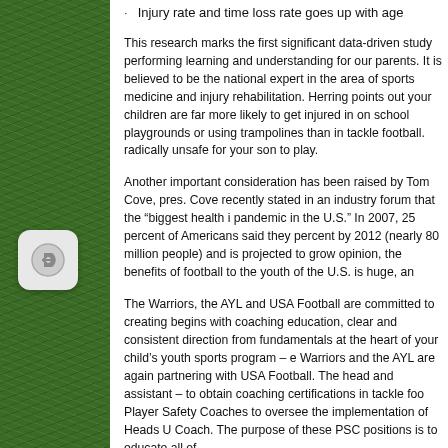Injury rate and time loss rate goes up with age
This research marks the first significant data-driven study perform... learning and understanding for our parents. It is believed to be the national expert in the area of sports medicine and injury rehabilita... Herring points out your children are far more likely to get injured in on school playgrounds or using trampolines than in tackle football... radically unsafe for your son to play.
Another important consideration has been raised by Tom Cove, p... Cove recently stated in an industry forum that the “biggest health i pandemic in the U.S.” In 2007, 25 percent of Americans said they percent by 2012 (nearly 80 million people) and is projected to gro... opinion, the benefits of football to the youth of the U.S. is huge, a...
The Warriors, the AYL and USA Football are committed to creating begins with coaching education, clear and consistent direction fro... fundamentals at the heart of your child’s youth sports program – e... Warriors and the AYL are again partnering with USA Football. The head and assistant – to obtain coaching certifications in tackle fo... Player Safety Coaches to oversee the implementation of Heads U... Coach. The purpose of these PSC positions is to educate all of...